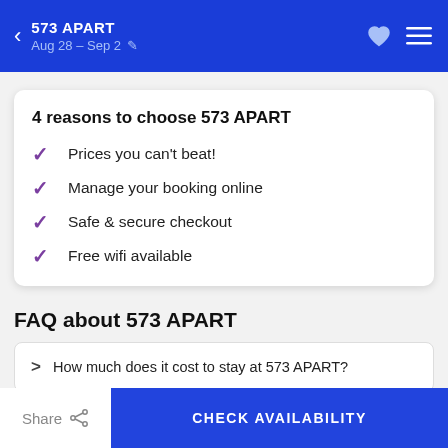573 APART — Aug 28 – Sep 2
4 reasons to choose 573 APART
Prices you can't beat!
Manage your booking online
Safe & secure checkout
Free wifi available
FAQ about 573 APART
How much does it cost to stay at 573 APART?
Share   CHECK AVAILABILITY